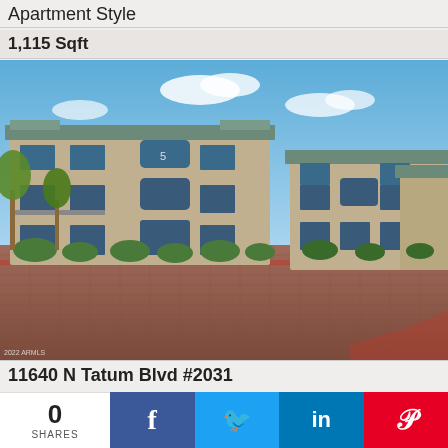Apartment Style
1,115 Sqft
[Figure (photo): Exterior photo of a multi-story apartment complex with brick paving in the foreground, arched windows, balconies, landscaping with shrubs and trees, and a blue sky with clouds. Watermark reads '2022 ARMLS'.]
2022 ARMLS
11640 N Tatum Blvd #2031
0
SHARES